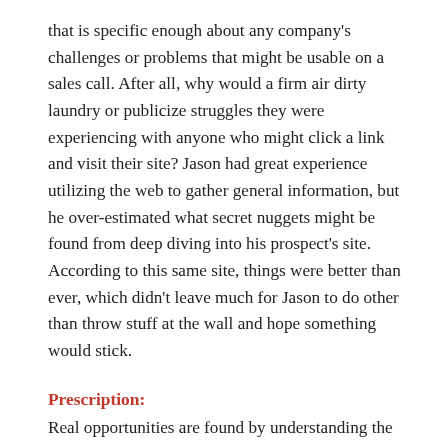that is specific enough about any company's challenges or problems that might be usable on a sales call. After all, why would a firm air dirty laundry or publicize struggles they were experiencing with anyone who might click a link and visit their site? Jason had great experience utilizing the web to gather general information, but he over-estimated what secret nuggets might be found from deep diving into his prospect's site. According to this same site, things were better than ever, which didn't leave much for Jason to do other than throw stuff at the wall and hope something would stick.
Prescription:
Real opportunities are found by understanding the business process a prospective client lives with day in and day out. Knowing about the industry as a whole could have provided Jason with more information about what to explore on his initial call. Using website data to speculate about problems or issues can be too assumptive. A better way to find out where you might create value is to find out what the client thinks of